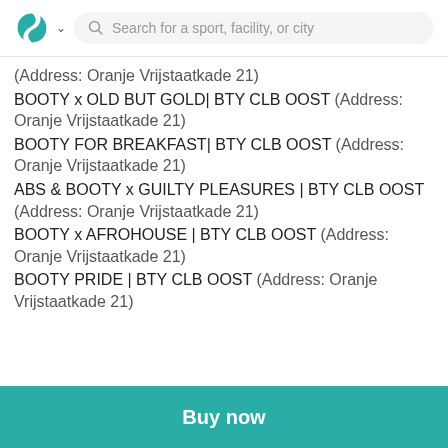Search for a sport, facility, or city
(Address: Oranje Vrijstaatkade 21)
BOOTY x OLD BUT GOLD| BTY CLB OOST (Address: Oranje Vrijstaatkade 21)
BOOTY FOR BREAKFAST| BTY CLB OOST (Address: Oranje Vrijstaatkade 21)
ABS & BOOTY x GUILTY PLEASURES | BTY CLB OOST (Address: Oranje Vrijstaatkade 21)
BOOTY x AFROHOUSE | BTY CLB OOST (Address: Oranje Vrijstaatkade 21)
BOOTY PRIDE | BTY CLB OOST (Address: Oranje Vrijstaatkade 21)
Buy now